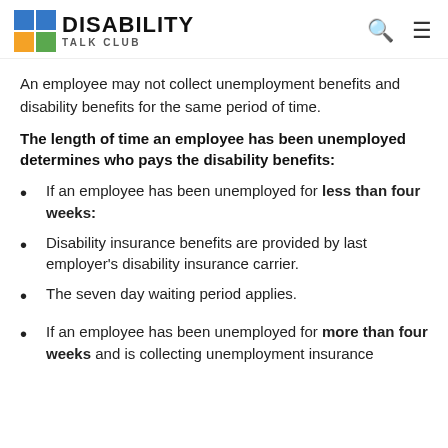DISABILITY TALK CLUB
An employee may not collect unemployment benefits and disability benefits for the same period of time.
The length of time an employee has been unemployed determines who pays the disability benefits:
If an employee has been unemployed for less than four weeks:
Disability insurance benefits are provided by last employer's disability insurance carrier.
The seven day waiting period applies.
If an employee has been unemployed for more than four weeks and is collecting unemployment insurance